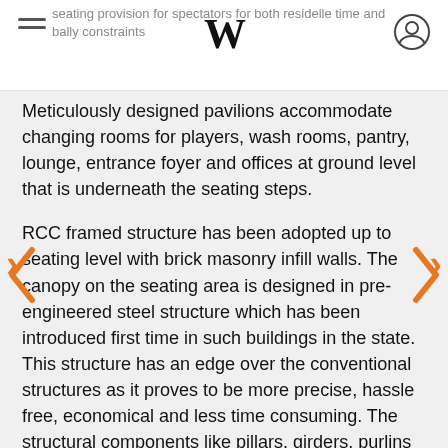W
seating provision for spectators for both residelle time and bally constraints
Meticulously designed pavilions accommodate changing rooms for players, wash rooms, pantry, lounge, entrance foyer and offices at ground level that is underneath the seating steps.
RCC framed structure has been adopted up to seating level with brick masonry infill walls. The canopy on the seating area is designed in pre-engineered steel structure which has been introduced first time in such buildings in the state. This structure has an edge over the conventional structures as it proves to be more precise, hassle free, economical and less time consuming. The structural components like pillars, girders, purlins etc. were designed as per exact requirements and